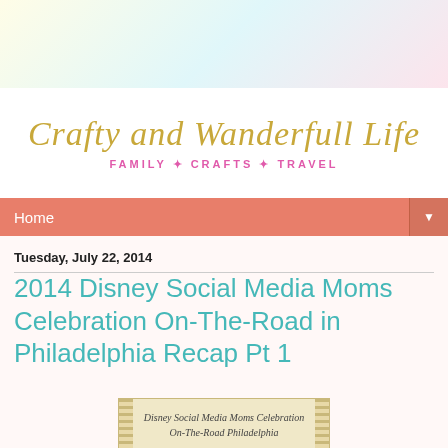[Figure (illustration): Decorative pastel banner with light blue, yellow, and pink watercolor style background at top of page]
Crafty and Wanderfull Life
FAMILY * CRAFTS * TRAVEL
Home
Tuesday, July 22, 2014
2014 Disney Social Media Moms Celebration On-The-Road in Philadelphia Recap Pt 1
[Figure (illustration): Decorative scroll/banner image with text: Disney Social Media Moms Celebration On-The-Road Philadelphia]